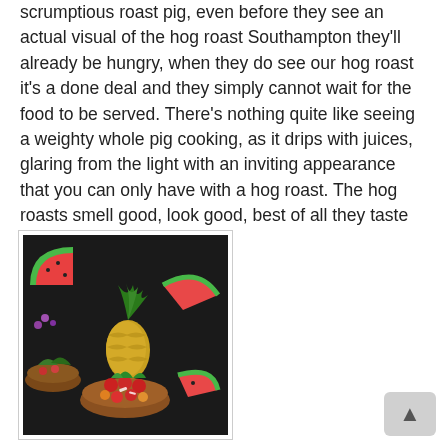scrumptious roast pig, even before they see an actual visual of the hog roast Southampton they'll already be hungry, when they do see our hog roast it's a done deal and they simply cannot wait for the food to be served. There's nothing quite like seeing a weighty whole pig cooking, as it drips with juices, glaring from the light with an inviting appearance that you can only have with a hog roast. The hog roasts smell good, look good, best of all they taste remarkable.
[Figure (photo): Colorful food spread with a pineapple, watermelon slices, bowls of mixed fruit with cherries, herbs and various tropical fruits arranged on a dark surface]